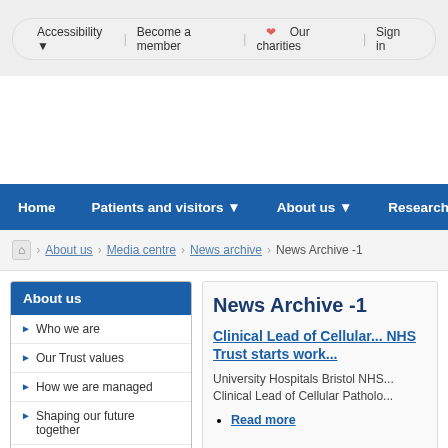Accessibility ▼ | Become a member | ❤ Our charities | Sign in
[Figure (screenshot): White banner area (NHS Trust website header image placeholder)]
Home | Patients and visitors ▼ | About us ▼ | Research &
🏠 About us › Media centre › News archive › News Archive -1
About us
Who we are
Our Trust values
How we are managed
Shaping our future together
Our performance - how we are doing
Our work - transforming care
News Archive -1
Clinical Lead of Cellular... NHS Trust starts work...
University Hospitals Bristol NHS... Clinical Lead of Cellular Patholo...
Read more